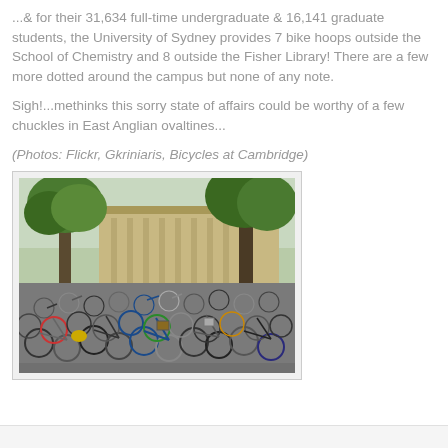...& for their 31,634 full-time undergraduate & 16,141 graduate students, the University of Sydney provides 7 bike hoops outside the School of Chemistry and 8 outside the Fisher Library! There are a few more dotted around the campus but none of any note.
Sigh!...methinks this sorry state of affairs could be worthy of a few chuckles in East Anglian ovaltines...
(Photos: Flickr, Gkriniaris, Bicycles at Cambridge)
[Figure (photo): A large crowd of bicycles parked outdoors near trees and a stone building at Cambridge. Hundreds of bikes are densely packed together.]